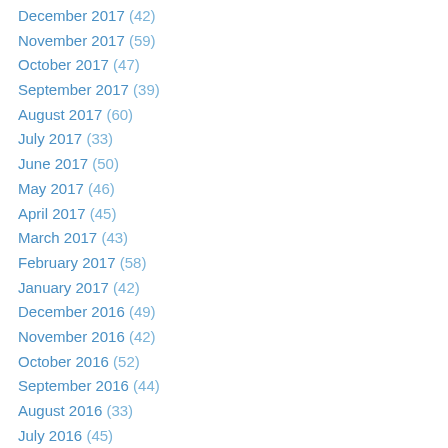December 2017 (42)
November 2017 (59)
October 2017 (47)
September 2017 (39)
August 2017 (60)
July 2017 (33)
June 2017 (50)
May 2017 (46)
April 2017 (45)
March 2017 (43)
February 2017 (58)
January 2017 (42)
December 2016 (49)
November 2016 (42)
October 2016 (52)
September 2016 (44)
August 2016 (33)
July 2016 (45)
June 2016 (46)
May 2016 (46)